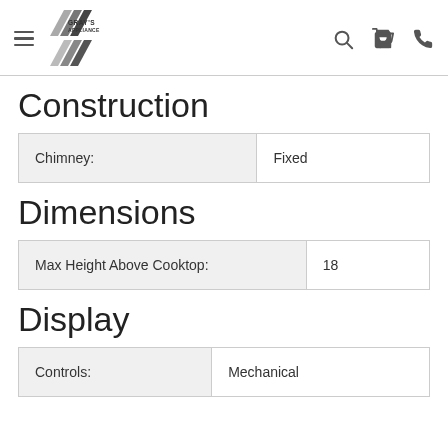Gray's Appliance — navigation header with logo, search, cart, phone icons
Construction
|  |  |
| --- | --- |
| Chimney: | Fixed |
Dimensions
|  |  |
| --- | --- |
| Max Height Above Cooktop: | 18 |
Display
|  |  |
| --- | --- |
| Controls: | Mechanical |